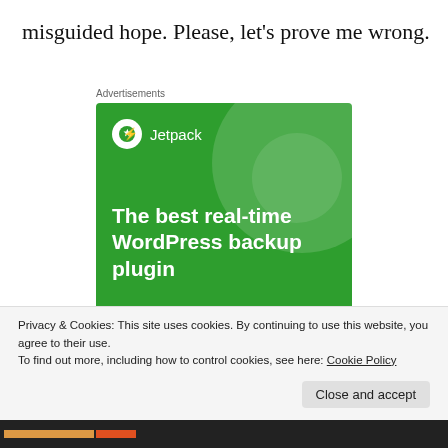misguided hope. Please, let's prove me wrong.
Advertisements
[Figure (illustration): Jetpack advertisement banner with green background showing logo, headline 'The best real-time WordPress backup plugin' and a 'Back up your site' button]
Privacy & Cookies: This site uses cookies. By continuing to use this website, you agree to their use.
To find out more, including how to control cookies, see here: Cookie Policy
Close and accept